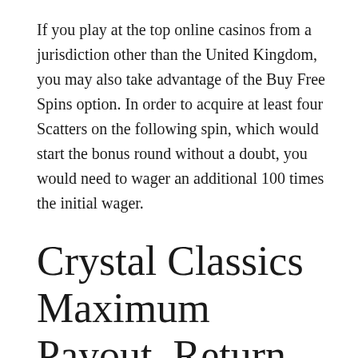If you play at the top online casinos from a jurisdiction other than the United Kingdom, you may also take advantage of the Buy Free Spins option. In order to acquire at least four Scatters on the following spin, which would start the bonus round without a doubt, you would need to wager an additional 100 times the initial wager.
Crystal Classics Maximum Payout, Return to Player, and Volatility